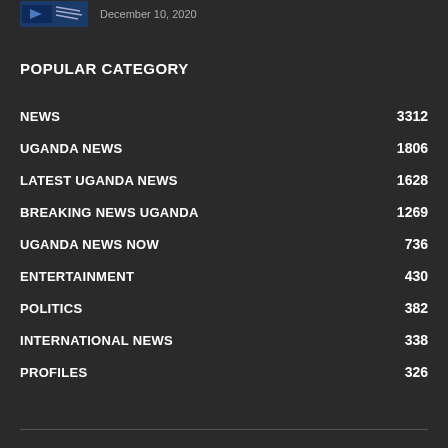[Figure (photo): Small thumbnail image (blue/dark tones) top left]
December 10, 2020
POPULAR CATEGORY
NEWS 3312
UGANDA NEWS 1806
LATEST UGANDA NEWS 1628
BREAKING NEWS UGANDA 1269
UGANDA NEWS NOW 736
ENTERTAINMENT 430
POLITICS 382
INTERNATIONAL NEWS 338
PROFILES 326